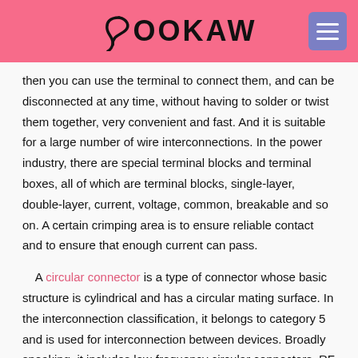BOOKAW
then you can use the terminal to connect them, and can be disconnected at any time, without having to solder or twist them together, very convenient and fast. And it is suitable for a large number of wire interconnections. In the power industry, there are special terminal blocks and terminal boxes, all of which are terminal blocks, single-layer, double-layer, current, voltage, common, breakable and so on. A certain crimping area is to ensure reliable contact and to ensure that enough current can pass.
A circular connector is a type of connector whose basic structure is cylindrical and has a circular mating surface. In the interconnection classification, it belongs to category 5 and is used for interconnection between devices. Broadly speaking, it includes low-frequency circular connectors, RF coaxial connectors and audio connectors. The cylindrical structure of the circular connector is inherently robust and provides greater strength than any other shape.